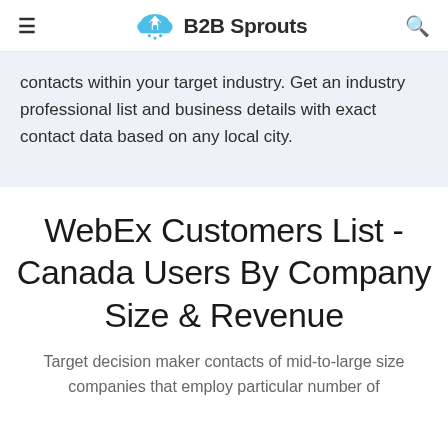B2B Sprouts
contacts within your target industry. Get an industry professional list and business details with exact contact data based on any local city.
WebEx Customers List - Canada Users By Company Size & Revenue
Target decision maker contacts of mid-to-large size companies that employ particular number of